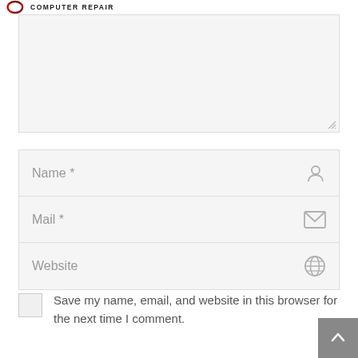COMPUTER REPAIR
[Figure (other): Comment textarea input field (empty, light gray background with resize handle)]
Name *
Mail *
Website
Save my name, email, and website in this browser for the next time I comment.